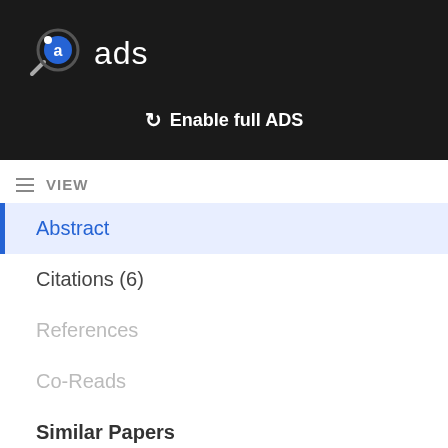[Figure (logo): ADS (Astrophysics Data System) logo with circular magnifying glass icon containing letter 'a', followed by text 'ads' in white on dark background]
⟳ Enable full ADS
VIEW
Abstract
Citations (6)
References
Co-Reads
Similar Papers
Volume Content
Graphics